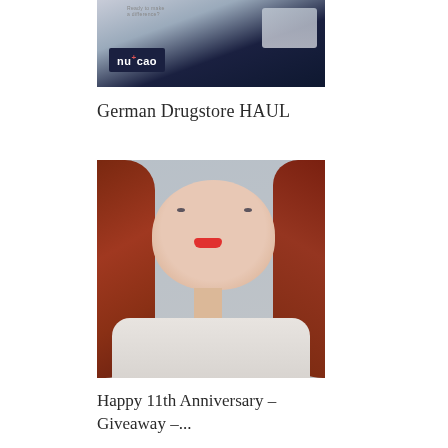[Figure (photo): Product photo showing a nu+cao chocolate bar packaging against a light background]
German Drugstore HAUL
[Figure (photo): Portrait selfie of a woman with long auburn/red hair and red lipstick wearing a cream ribbed sweater]
Happy 11th Anniversary – Giveaway –...